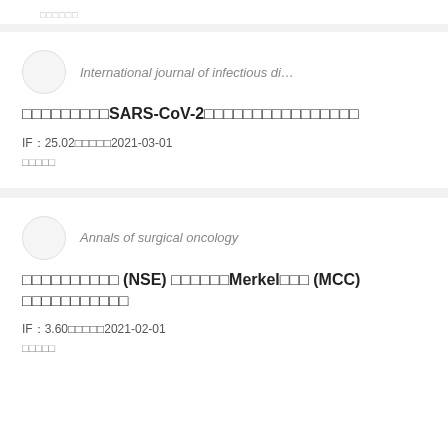□□□□□□
International journal of infectious di…
□□□□□□□□□SARS-CoV-2□□□□□□□□□□□□□□□□
IF：25.02□□□□□2021-03-01
□□□□□
Annals of surgical oncology
□□□□□□□□□□ (NSE) □□□□□□Merkel□□□ (MCC) □□□□□□□□□□□
IF：3.60□□□□□2021-02-01
□□□□□